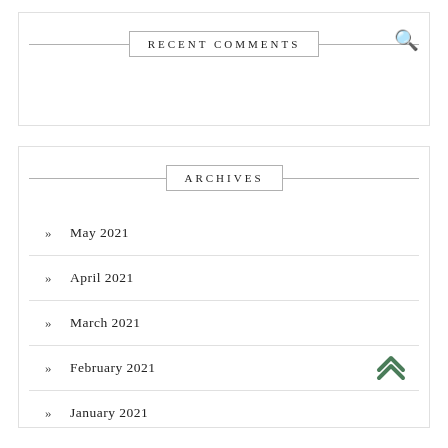RECENT COMMENTS
ARCHIVES
May 2021
April 2021
March 2021
February 2021
January 2021